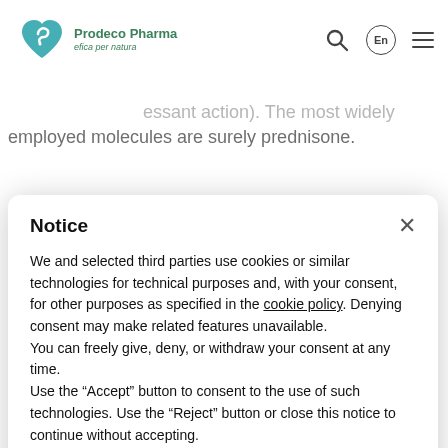Prodeco Pharma — efica per natura
of neutrophils, cell migration on and B lymphocytes essant action). The most widely employed molecules are surely prednisone.
Notice
We and selected third parties use cookies or similar technologies for technical purposes and, with your consent, for other purposes as specified in the cookie policy. Denying consent may make related features unavailable.
You can freely give, deny, or withdraw your consent at any time.
Use the “Accept” button to consent to the use of such technologies. Use the “Reject” button or close this notice to continue without accepting.
Reject
Accept
Learn more and customize